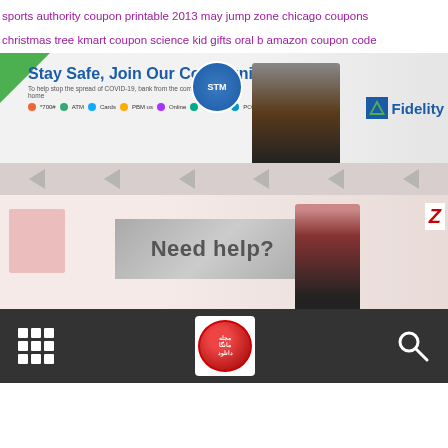sports authority coupon printable 2013 may jump zone chicago coupons christmas tree kmart coupon science kid gifts oral b amazon coupon code
[Figure (screenshot): Fidelity Bank ad banner: Stay Safe, Join Our Community - bank from home COVID-19 message with person using phone and Fidelity logo]
[Figure (screenshot): Playback/navigation strip with grey reverse-play arrow buttons]
[Figure (screenshot): Zenith Bank ad banner: Need help? banner with female customer service rep and Zenith logo]
[Figure (screenshot): Dark navigation bar with grid menu icon, circular red logo, and search magnifying glass icon]